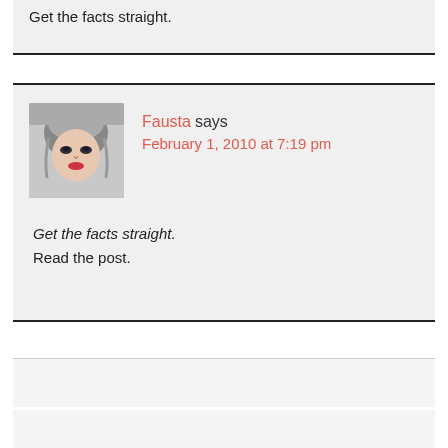Get the facts straight.
Fausta says
February 1, 2010 at 7:19 pm
Get the facts straight.
Read the post.